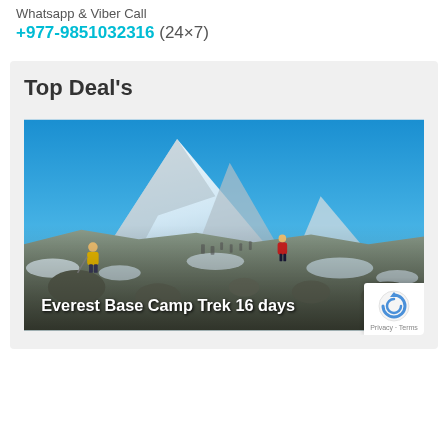Whatsapp & Viber Call
+977-9851032316 (24×7)
Top Deal's
[Figure (photo): Mountain trekking scene with hikers on rocky snowy terrain below a large snow-capped peak under a blue sky. Text overlay reads 'Everest Base Camp Trek 16 days'.]
Everest Base Camp Trek 16 days